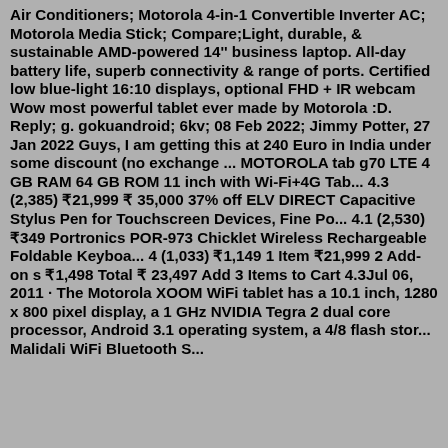Air Conditioners; Motorola 4-in-1 Convertible Inverter AC; Motorola Media Stick; Compare;Light, durable, & sustainable AMD-powered 14'' business laptop. All-day battery life, superb connectivity & range of ports. Certified low blue-light 16:10 displays, optional FHD + IR webcam Wow most powerful tablet ever made by Motorola :D. Reply; g. gokuandroid; 6kv; 08 Feb 2022; Jimmy Potter, 27 Jan 2022 Guys, I am getting this at 240 Euro in India under some discount (no exchange ... MOTOROLA tab g70 LTE 4 GB RAM 64 GB ROM 11 inch with Wi-Fi+4G Tab... 4.3 (2,385) ₹21,999 ₹ 35,000 37% off ELV DIRECT Capacitive Stylus Pen for Touchscreen Devices, Fine Po... 4.1 (2,530) ₹349 Portronics POR-973 Chicklet Wireless Rechargeable Foldable Keyboa... 4 (1,033) ₹1,149 1 Item ₹21,999 2 Add-on s ₹1,498 Total ₹ 23,497 Add 3 Items to Cart 4.3Jul 06, 2011 · The Motorola XOOM WiFi tablet has a 10.1 inch, 1280 x 800 pixel display, a 1 GHz NVIDIA Tegra 2 dual core processor, Android 3.1 operating system, a 4/8 flash stor... Malidali WiFi Bluetooth S...